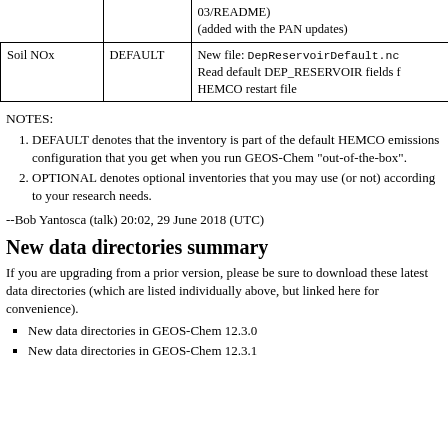|  |  |  |
| --- | --- | --- |
|  |  | 03/README)
(added with the PAN updates) |
| Soil NOx | DEFAULT | New file: DepReservoirDefault.nc
Read default DEP_RESERVOIR fields f HEMCO restart file |
NOTES:
DEFAULT denotes that the inventory is part of the default HEMCO emissions configuration that you get when you run GEOS-Chem "out-of-the-box".
OPTIONAL denotes optional inventories that you may use (or not) according to your research needs.
--Bob Yantosca (talk) 20:02, 29 June 2018 (UTC)
New data directories summary
If you are upgrading from a prior version, please be sure to download these latest data directories (which are listed individually above, but linked here for convenience).
New data directories in GEOS-Chem 12.3.0
New data directories in GEOS-Chem 12.3.1